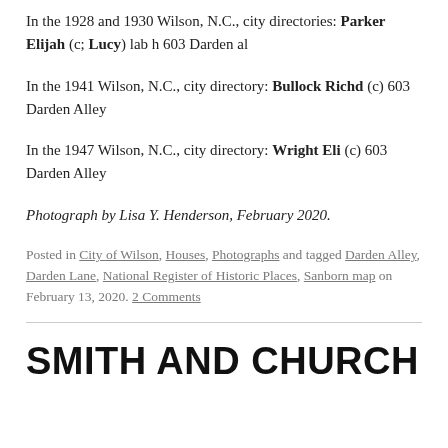In the 1928 and 1930 Wilson, N.C., city directories: Parker Elijah (c; Lucy) lab h 603 Darden al
In the 1941 Wilson, N.C., city directory: Bullock Richd (c) 603 Darden Alley
In the 1947 Wilson, N.C., city directory: Wright Eli (c) 603 Darden Alley
Photograph by Lisa Y. Henderson, February 2020.
Posted in City of Wilson, Houses, Photographs and tagged Darden Alley, Darden Lane, National Register of Historic Places, Sanborn map on February 13, 2020. 2 Comments
SMITH AND CHURCH